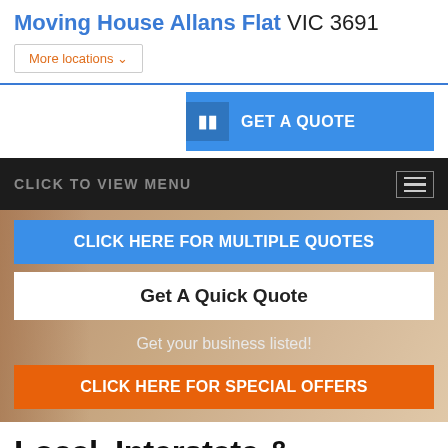Moving House Allans Flat VIC 3691
More locations
GET A QUOTE
CLICK TO VIEW MENU
CLICK HERE FOR MULTIPLE QUOTES
Get A Quick Quote
Get your business listed!
CLICK HERE FOR SPECIAL OFFERS
Local, Interstate & International Home Movers